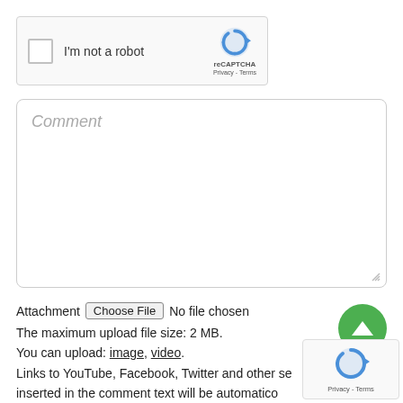[Figure (screenshot): reCAPTCHA widget with checkbox labelled 'I'm not a robot', reCAPTCHA logo and Privacy / Terms links]
[Figure (screenshot): Comment text area with placeholder text 'Comment' and resize handle]
Attachment  Choose File  No file chosen
The maximum upload file size: 2 MB.
You can upload: image, video.
Links to YouTube, Facebook, Twitter and other services inserted in the comment text will be automatically embedded.
[Figure (illustration): Green circular scroll-to-top button with upward triangle arrow]
[Figure (screenshot): Small reCAPTCHA logo widget showing Privacy - Terms]